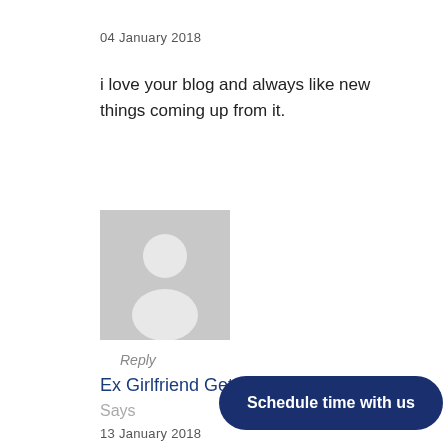04 January 2018
i love your blog and always like new things coming up from it.
[Figure (illustration): Generic grey avatar placeholder image with silhouette of a person]
Reply
Ex Girlfriend Get Her Back
Says
13 January 2018
Very revealing bless you, I do think your current audience might want a whole lot more content such as this continue